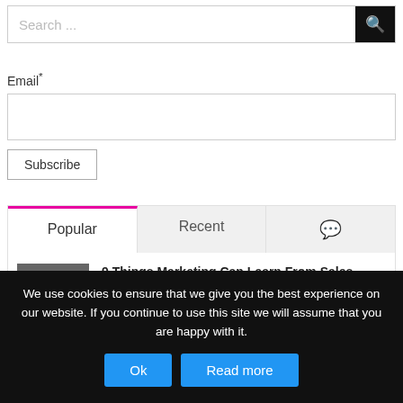Search ...
Email*
Subscribe
Popular
Recent
💬
9 Things Marketing Can Learn From Sales
August 30th, 2016
We use cookies to ensure that we give you the best experience on our website. If you continue to use this site we will assume that you are happy with it.
Ok
Read more